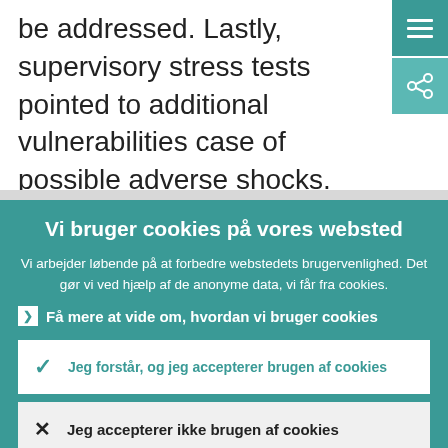be addressed. Lastly, supervisory stress tests pointed to additional vulnerabilities case of possible adverse shocks.
Vi bruger cookies på vores websted
Vi arbejder løbende på at forbedre webstedets brugervenlighed. Det gør vi ved hjælp af de anonyme data, vi får fra cookies.
Få mere at vide om, hvordan vi bruger cookies
Jeg forstår, og jeg accepterer brugen af cookies
Jeg accepterer ikke brugen af cookies